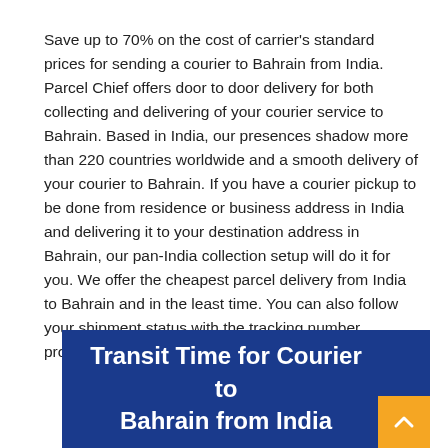Save up to 70% on the cost of carrier's standard prices for sending a courier to Bahrain from India. Parcel Chief offers door to door delivery for both collecting and delivering of your courier service to Bahrain. Based in India, our presences shadow more than 220 countries worldwide and a smooth delivery of your courier to Bahrain. If you have a courier pickup to be done from residence or business address in India and delivering it to your destination address in Bahrain, our pan-India collection setup will do it for you. We offer the cheapest parcel delivery from India to Bahrain and in the least time. You can also follow your shipment status with the tracking number provided to you.
Transit Time for Courier to Bahrain from India